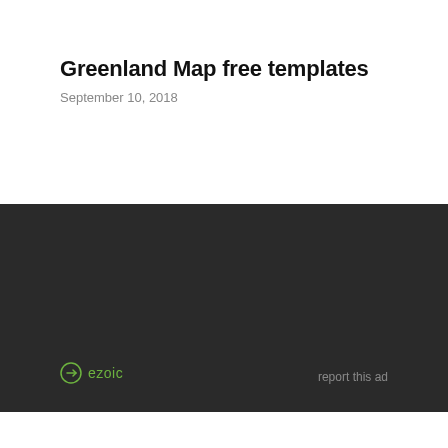Greenland Map free templates
September 10, 2018
[Figure (other): Dark advertisement banner with ezoic logo on the left and 'report this ad' text on the right]